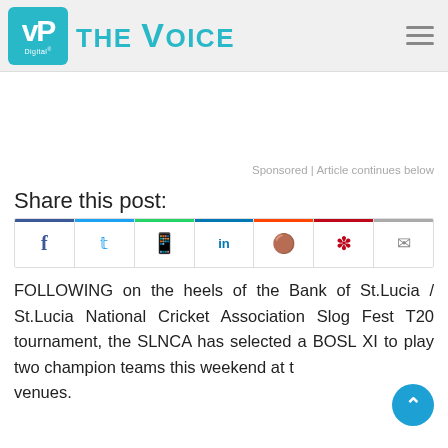VP Digital THE VOICE
Sponsored | Article continues below
Share this post:
[Figure (infographic): Social media share buttons: Facebook, Twitter, WhatsApp, LinkedIn, Reddit, Pinterest, Email]
FOLLOWING on the heels of the Bank of St.Lucia / St.Lucia National Cricket Association Slog Fest T20 tournament, the SLNCA has selected a BOSL XI to play two champion teams this weekend at two venues.